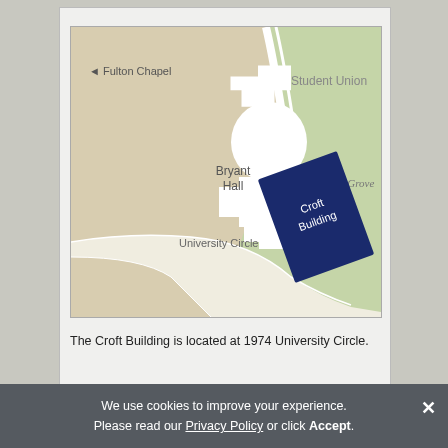[Figure (map): Campus map showing Croft Building at 1974 University Circle. The map shows Bryant Hall (white building shape), Fulton Chapel direction arrow to the left, Student Union label upper right, The Grove (green area) to the right, University Circle road curving through the lower portion, and the Croft Building as a dark navy blue rectangle in the green area on the right side.]
The Croft Building is located at 1974 University Circle.
We use cookies to improve your experience. Please read our Privacy Policy or click Accept.